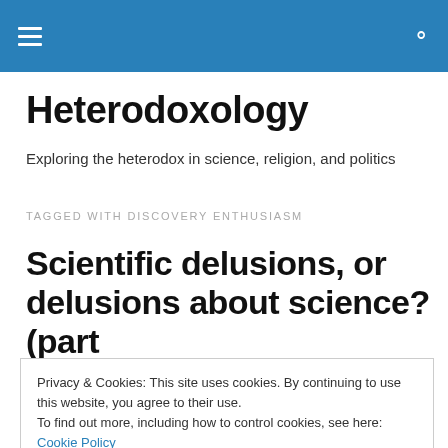Heterodoxology — site navigation header with menu and search icons
Heterodoxology
Exploring the heterodox in science, religion, and politics
TAGGED WITH DISCOVERY ENTHUSIASM
Scientific delusions, or delusions about science? (part
Privacy & Cookies: This site uses cookies. By continuing to use this website, you agree to their use.
To find out more, including how to control cookies, see here: Cookie Policy
Close and accept